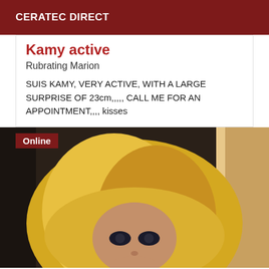CERATEC DIRECT
Kamy active
Rubrating Marion
SUIS KAMY, VERY ACTIVE, WITH A LARGE SURPRISE OF 23cm,,,,, CALL ME FOR AN APPOINTMENT,,,, kisses
[Figure (photo): Photo of a blonde woman with heavy eye makeup looking at the camera, with an 'Online' badge in the top-left corner]